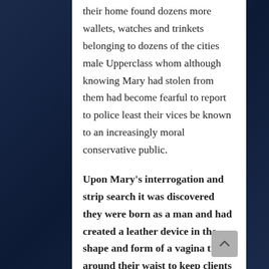their home found dozens more wallets, watches and trinkets belonging to dozens of the cities male Upperclass whom although knowing Mary had stolen from them had become fearful to report to police least their vices be known to an increasingly moral conservative public.
Upon Mary's interrogation and strip search it was discovered they were born as a man and had created a leather device in the shape and form of a vagina tied around their waist to keep clients from learning Mary's T and birth sex (Although there is